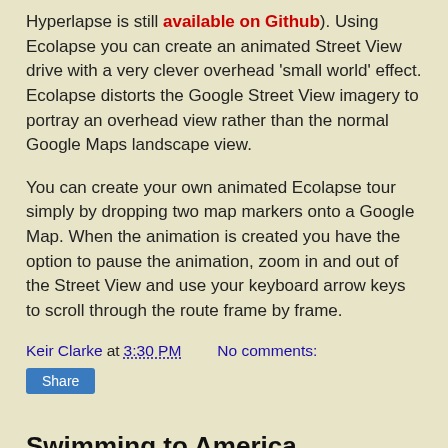Hyperlapse is still available on Github). Using Ecolapse you can create an animated Street View drive with a very clever overhead 'small world' effect. Ecolapse distorts the Google Street View imagery to portray an overhead view rather than the normal Google Maps landscape view.
You can create your own animated Ecolapse tour simply by dropping two map markers onto a Google Map. When the animation is created you have the option to pause the animation, zoom in and out of the Street View and use your keyboard arrow keys to scroll through the route frame by frame.
Keir Clarke at 3:30 PM   No comments:
Share
Swimming to America
[Figure (map): A colorful map image showing landmasses and water in green, blue and teal tones, partially visible at the bottom of the page.]